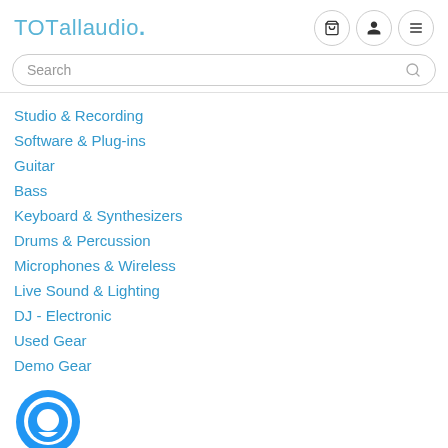TOTallaudio.
Search
Studio & Recording
Software & Plug-ins
Guitar
Bass
Keyboard & Synthesizers
Drums & Percussion
Microphones & Wireless
Live Sound & Lighting
DJ - Electronic
Used Gear
Demo Gear
[Figure (logo): Blue circular chat bubble icon for contact us]
Contact us